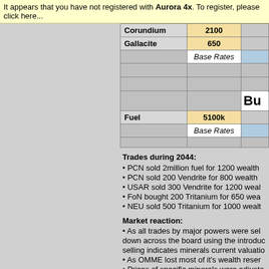It appears that you have not registered with Aurora 4x. To register, please click here...
| Corundium | 2100 |  |
| Gallacite | 650 |  |
|  | Base Rates |  |
|  |  |  |
|  |  |  |
|  |  | Bu |
| Fuel | 5100k |  |
|  | Base Rates |  |
Trades during 2044:
PCN sold 2million fuel for 1200 wealth
PCN sold 200 Vendrite for 800 wealth
USAR sold 300 Vendrite for 1200 weal
FoN bought 200 Tritanium for 650 wea
NEU sold 500 Tritanium for 1000 wealt
Market reaction:
As all trades by major powers were sel down across the board using the introduc selling indicates minerals current valuatio
As OMME lost most of it's wealth reser
Prices of specific minerals were adjuste